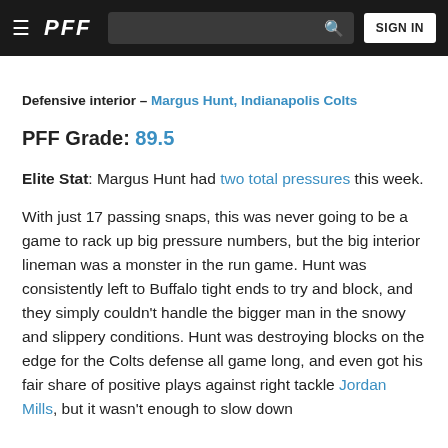≡  PFF  [search]  SIGN IN
Defensive interior – Margus Hunt, Indianapolis Colts
PFF Grade: 89.5
Elite Stat: Margus Hunt had two total pressures this week.
With just 17 passing snaps, this was never going to be a game to rack up big pressure numbers, but the big interior lineman was a monster in the run game. Hunt was consistently left to Buffalo tight ends to try and block, and they simply couldn't handle the bigger man in the snowy and slippery conditions. Hunt was destroying blocks on the edge for the Colts defense all game long, and even got his fair share of positive plays against right tackle Jordan Mills, but it wasn't enough to slow down